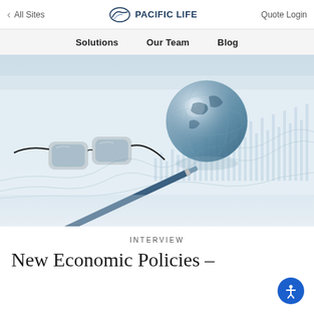All Sites | Pacific Life | Quote Login
Solutions   Our Team   Blog
[Figure (photo): A flat lay on white financial charts showing a crystal globe, black-framed glasses, and a blue pen, with line and bar charts visible on the papers beneath.]
INTERVIEW
New Economic Policies –